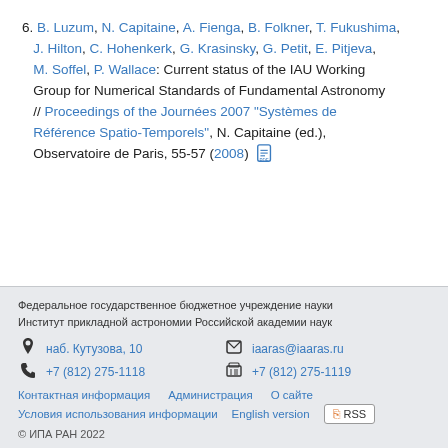6. B. Luzum, N. Capitaine, A. Fienga, B. Folkner, T. Fukushima, J. Hilton, C. Hohenkerk, G. Krasinsky, G. Petit, E. Pitjeva, M. Soffel, P. Wallace: Current status of the IAU Working Group for Numerical Standards of Fundamental Astronomy // Proceedings of the Journées 2007 "Systèmes de Référence Spatio-Temporels", N. Capitaine (ed.), Observatoire de Paris, 55-57 (2008)
Федеральное государственное бюджетное учреждение науки Институт прикладной астрономии Российской академии наук | наб. Кутузова, 10 | iaaras@iaaras.ru | +7 (812) 275-1118 | +7 (812) 275-1119 | Контактная информация | Администрация | О сайте | Условия использования информации | English version | RSS | © ИПА РАН 2022